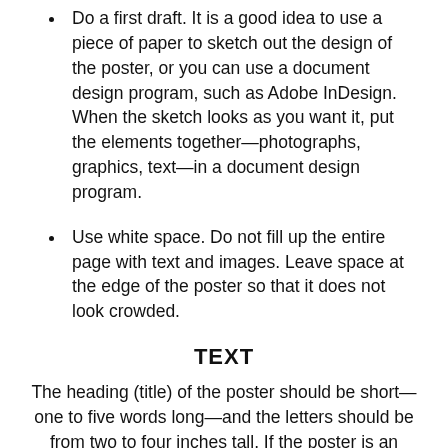Do a first draft. It is a good idea to use a piece of paper to sketch out the design of the poster, or you can use a document design program, such as Adobe InDesign. When the sketch looks as you want it, put the elements together—photographs, graphics, text—in a document design program.
Use white space. Do not fill up the entire page with text and images. Leave space at the edge of the poster so that it does not look crowded.
TEXT
The heading (title) of the poster should be short—one to five words long—and the letters should be from two to four inches tall. If the poster is an advertisement for a local fair, the largest text should be something about the fair, such as "It's